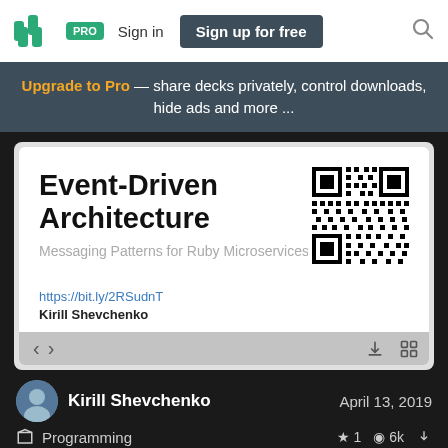SJ PRO Sign in Sign up for free
Upgrade to Pro — share decks privately, control downloads, hide ads and more ...
[Figure (screenshot): Slide preview showing 'Event-Driven Architecture' presentation with subtitle 'Messaging Patterns for Ruby Microservices', a QR code, link https://bit.ly/2RSudnT, and author name Kirill Shevchenko]
Kirill Shevchenko
April 13, 2019
Programming
1  6k